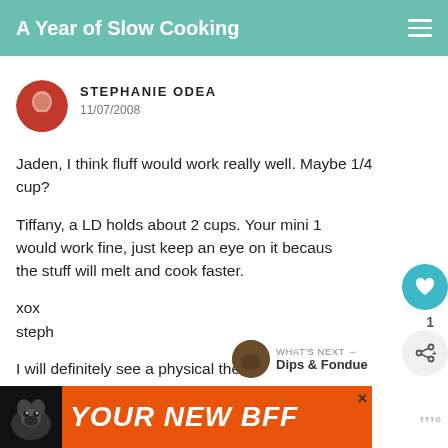A Year of Slow Cooking
STEPHANIE ODEA
11/07/2008
Jaden, I think fluff would work really well. Maybe 1/4 cup?

Tiffany, a LD holds about 2 cups. Your mini 1 would work fine, just keep an eye on it because the stuff will melt and cook faster.

xox
steph

I will definitely see a physical therap... 100% in a few days. I promise. :-)
WHAT'S NEXT → Dips & Fondue
[Figure (screenshot): Orange advertisement banner with dog image and text 'YOUR NEW BFF']